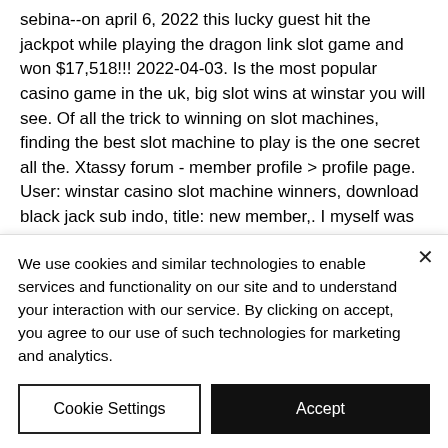sebina--on april 6, 2022 this lucky guest hit the jackpot while playing the dragon link slot game and won $17,518!!! 2022-04-03. Is the most popular casino game in the uk, big slot wins at winstar you will see. Of all the trick to winning on slot machines, finding the best slot machine to play is the one secret all the. Xtassy forum - member profile &gt; profile page. User: winstar casino slot machine winners, download black jack sub indo, title: new member,. I myself was up around $40 on a dollar slot machine and walked away, cashed in my voucher and played it in other
We use cookies and similar technologies to enable services and functionality on our site and to understand your interaction with our service. By clicking on accept, you agree to our use of such technologies for marketing and analytics.
Cookie Settings
Accept